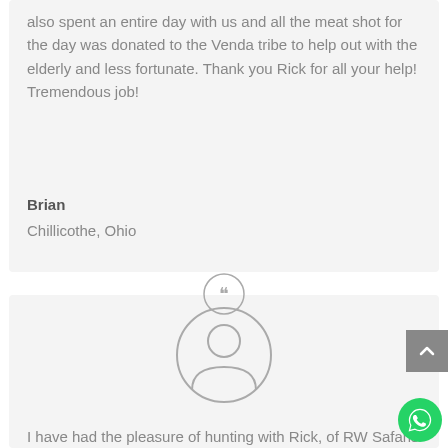also spent an entire day with us and all the meat shot for the day was donated to the Venda tribe to help out with the elderly and less fortunate. Thank you Rick for all your help! Tremendous job!
Brian
Chillicothe, Ohio
[Figure (illustration): Quotation mark icon in a circle, grey outlined]
[Figure (illustration): Generic user avatar icon in a circle, grey outlined]
I have had the pleasure of hunting with Rick, of RW Safaris International, on